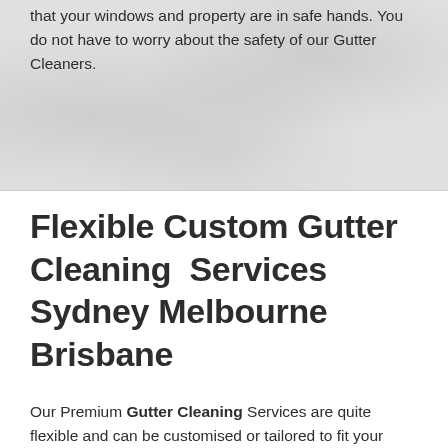unexpected replacement costs. You can rest assured that your windows and property are in safe hands. You do not have to worry about the safety of our Gutter Cleaners.
Flexible Custom Gutter Cleaning  Services Sydney Melbourne Brisbane
Our Premium Gutter Cleaning Services are quite flexible and can be customised or tailored to fit your